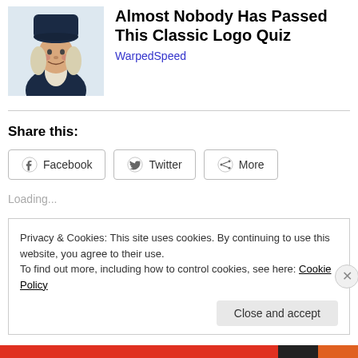[Figure (illustration): Thumbnail image of a Quaker Oats man mascot figure with white wig and colonial clothing]
Almost Nobody Has Passed This Classic Logo Quiz
WarpedSpeed
Share this:
Facebook  Twitter  More
Loading...
Privacy & Cookies: This site uses cookies. By continuing to use this website, you agree to their use.
To find out more, including how to control cookies, see here: Cookie Policy